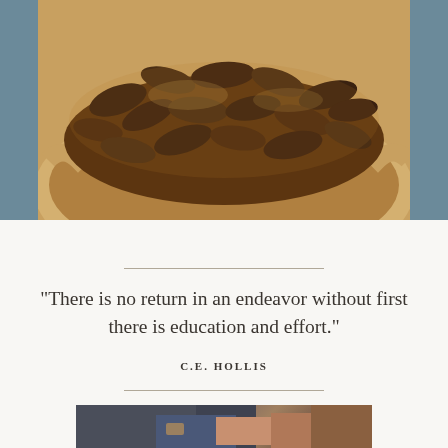[Figure (photo): Close-up photo of a pecan pie in a ceramic pie dish with a crimped golden crust, showing glossy caramelized pecans on top]
“There is no return in an endeavor without first there is education and effort.”
C.E. HOLLIS
[Figure (photo): Partial photo of a person wearing a dark jacket, seated, with hands visible, in a warm indoor setting]